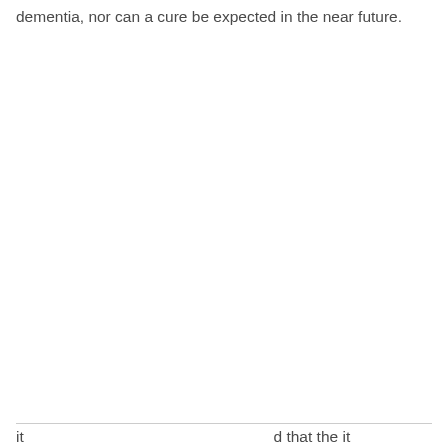dementia, nor can a cure be expected in the near future.
it...